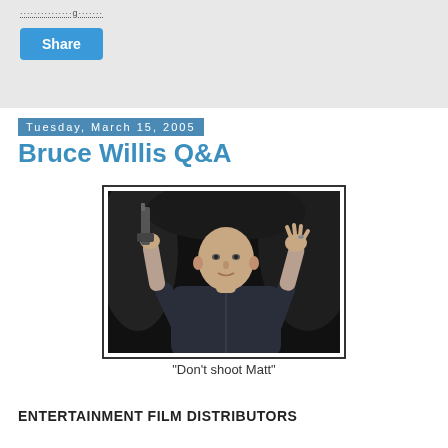Share
Tuesday, March 15, 2005
Bruce Willis Q&A
[Figure (photo): Bruce Willis holding a gun up with one hand and raising the other hand, wearing a dark jacket, against a dark background.]
"Don't shoot Matt"
ENTERTAINMENT FILM DISTRIBUTORS